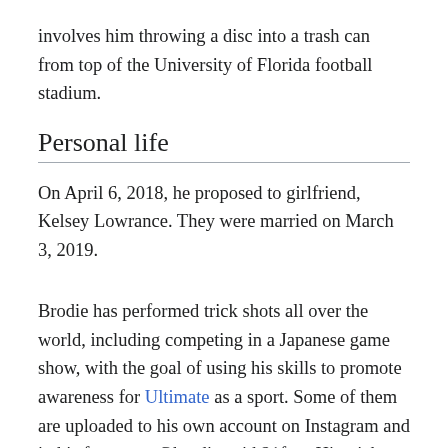involves him throwing a disc into a trash can from top of the University of Florida football stadium.
Personal life
On April 6, 2018, he proposed to girlfriend, Kelsey Lowrance. They were married on March 3, 2019.
Brodie has performed trick shots all over the world, including competing in a Japanese game show, with the goal of using his skills to promote awareness for Ultimate as a sport. Some of them are uploaded to his own account on Instagram and in his fan page: @brodiesmith21fans His trick shot videos have also led him onto the national media stage with multiple appearances on ESPN Sports Center's Top Plays. Brodie has also created several